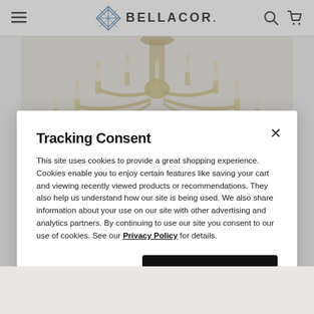BELLACOR.
[Figure (photo): Partial view of an ornate gold/champagne candelabra-style chandelier with multiple candle arms against a light background]
Tracking Consent
This site uses cookies to provide a great shopping experience. Cookies enable you to enjoy certain features like saving your cart and viewing recently viewed products or recommendations. They also help us understand how our site is being used. We also share information about your use on our site with other advertising and analytics partners. By continuing to use our site you consent to our use of cookies. See our Privacy Policy for details.